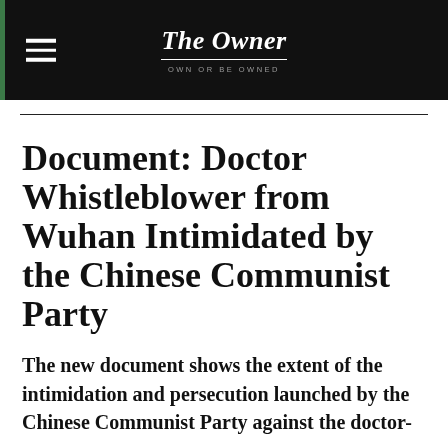The Owner — OWN OR BE OWNED
Document: Doctor Whistleblower from Wuhan Intimidated by the Chinese Communist Party
The new document shows the extent of the intimidation and persecution launched by the Chinese Communist Party against the doctor-